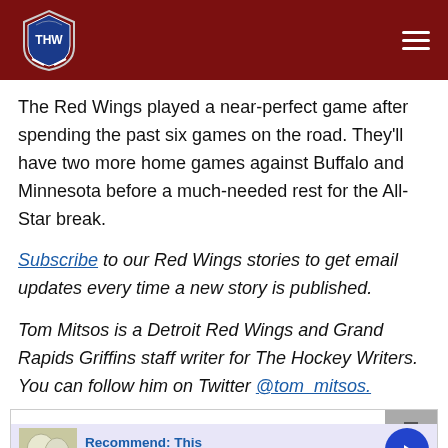[Figure (logo): THW (The Hockey Writers) logo shield in header, dark red background with hamburger menu icon]
The Red Wings played a near-perfect game after spending the past six games on the road. They'll have two more home games against Buffalo and Minnesota before a much-needed rest for the All-Star break.
Subscribe to our Red Wings stories to get email updates every time a new story is published.
Tom Mitsos is a Detroit Red Wings and Grand Rapids Griffins staff writer for The Hockey Writers. You can follow him on Twitter @tom_mitsos.
[Figure (infographic): Advertisement widget: Recommend: This, n/a, with food image thumbnail and blue arrow button]